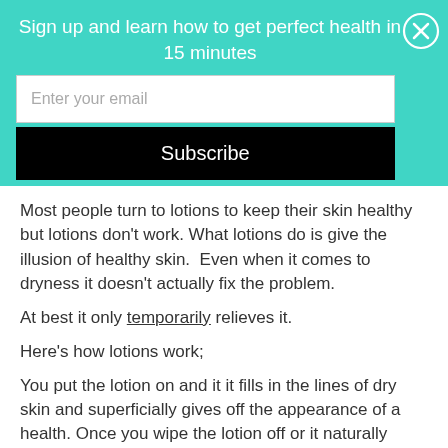Sign up and learn how to get perfect health in 15 minutes
[Figure (other): Email signup form with an email input field and a Subscribe button, on a teal background. A close (X) button is in the top right corner.]
Most people turn to lotions to keep their skin healthy but lotions don't work. What lotions do is give the illusion of healthy skin.  Even when it comes to dryness it doesn't actually fix the problem.
At best it only temporarily relieves it.
Here's how lotions work;
You put the lotion on and it it fills in the lines of dry skin and superficially gives off the appearance of a health. Once you wipe the lotion off or it naturally comes off,